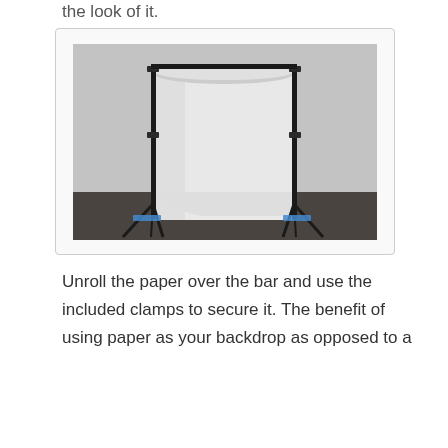the look of it.
[Figure (photo): A photography backdrop stand with white seamless paper backdrop unrolled and draped from a horizontal bar supported by two black tripod stands, with the paper curving onto the floor. Blue tape is visible at the base. Set in a room with grey walls and dark floor.]
Unroll the paper over the bar and use the included clamps to secure it. The benefit of using paper as your backdrop as opposed to a